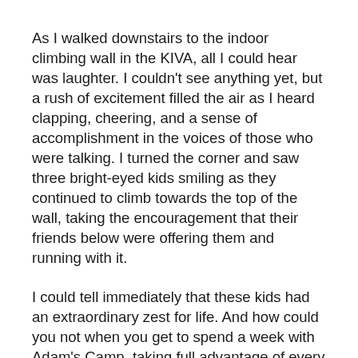As I walked downstairs to the indoor climbing wall in the KIVA, all I could hear was laughter. I couldn't see anything yet, but a rush of excitement filled the air as I heard clapping, cheering, and a sense of accomplishment in the voices of those who were talking. I turned the corner and saw three bright-eyed kids smiling as they continued to climb towards the top of the wall, taking the encouragement that their friends below were offering them and running with it.
I could tell immediately that these kids had an extraordinary zest for life. And how could you not when you get to spend a week with Adam's Camp, taking full advantage of every opportunity available at Snow Mountain Ranch?
Since the camp began back in the mid-80's,